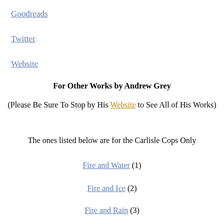Goodreads
Twitter
Website
For Other Works by Andrew Grey
(Please Be Sure To Stop by His Website to See All of His Works)
The ones listed below are for the Carlisle Cops Only
Fire and Water (1)
Fire and Ice (2)
Fire and Rain (3)